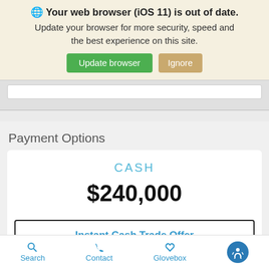🌐 Your web browser (iOS 11) is out of date. Update your browser for more security, speed and the best experience on this site.
Update browser | Ignore
Payment Options
CASH
$240,000
Instant Cash Trade Offer
Search   Contact   Glovebox